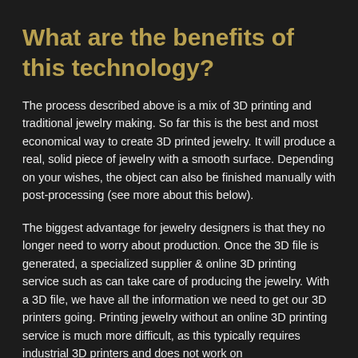What are the benefits of this technology?
The process described above is a mix of 3D printing and traditional jewelry making. So far this is the best and most economical way to create 3D printed jewelry. It will produce a real, solid piece of jewelry with a smooth surface. Depending on your wishes, the object can also be finished manually with post-processing (see more about this below).
The biggest advantage for jewelry designers is that they no longer need to worry about production. Once the 3D file is generated, a specialized supplier & online 3D printing service such as can take care of producing the jewelry. With a 3D file, we have all the information we need to get our 3D printers going. Printing jewelry without an online 3D printing service is much more difficult, as this typically requires industrial 3D printers and does not work on